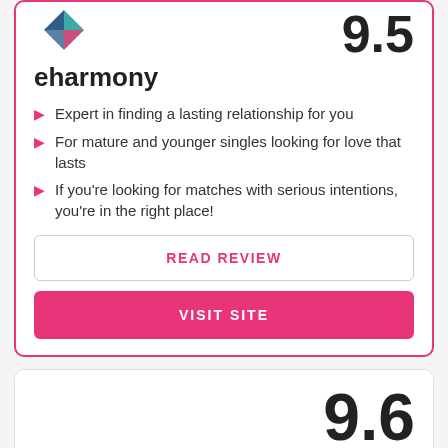[Figure (logo): eharmony logo - diamond/heart shape in teal and dark blue]
9.5
eharmony
Expert in finding a lasting relationship for you
For mature and younger singles looking for love that lasts
If you're looking for matches with serious intentions, you're in the right place!
READ REVIEW
VISIT SITE
9.6
Silversingles